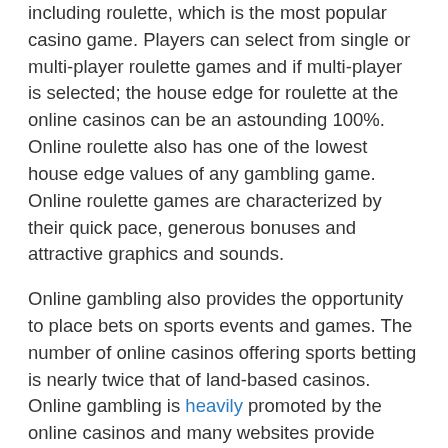including roulette, which is the most popular casino game. Players can select from single or multi-player roulette games and if multi-player is selected; the house edge for roulette at the online casinos can be an astounding 100%. Online roulette also has one of the lowest house edge values of any gambling game. Online roulette games are characterized by their quick pace, generous bonuses and attractive graphics and sounds.
Online gambling also provides the opportunity to place bets on sports events and games. The number of online casinos offering sports betting is nearly twice that of land-based casinos. Online gambling is heavily promoted by the online casinos and many websites provide news and information about online casinos, their latest offers and new information about the latest games. Online gambling can also be traced back to the rise of the Internet. As the World Wide Web has become widely known, there is a large following of online gamblers worldwide.
Online gaming is one of the fastest growing businesses in the world today. Today's technology along with a growing dependency on the Internet by users has created exciting opportunities for online casinos. There are several other ways in which to gamble, such as playing games in a video arcade,